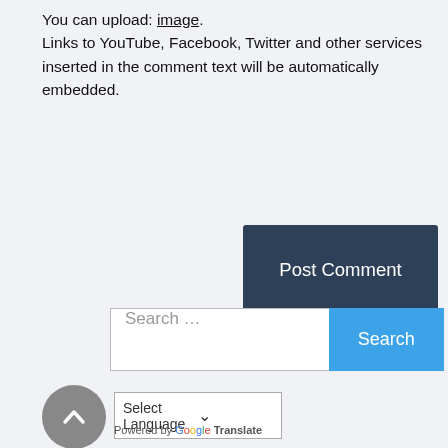You can upload: image.
Links to YouTube, Facebook, Twitter and other services inserted in the comment text will be automatically embedded.
[Figure (screenshot): Post Comment button — dark slate blue/gray rectangle with white text reading 'Post Comment']
[Figure (screenshot): Search bar with placeholder 'Search ...' and blue 'Search' button]
[Figure (screenshot): Scroll-to-top circular gray button with upward chevron, next to a 'Select Language' dropdown]
Powered by Google Translate